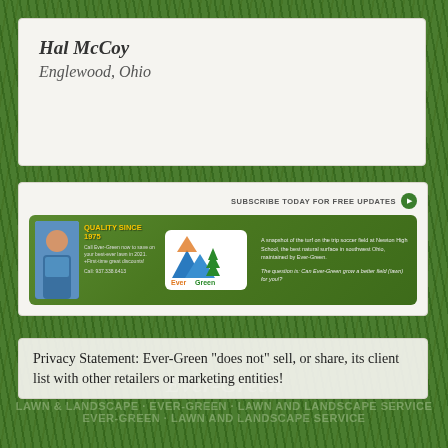Hal McCoy
Englewood, Ohio
[Figure (screenshot): Ever-Green lawn and landscape company advertisement banner with logo, man in blue shirt photo, quality since 1975 text, and field/turf description. Includes subscribe today for free updates button.]
Privacy Statement: Ever-Green "does not" sell, or share, its client list with other retailers or marketing entities!